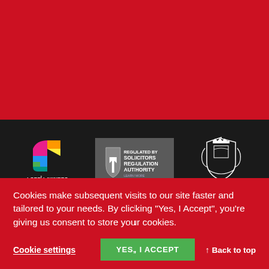[Figure (logo): LGBT Lawyers Partner Firm logo with colorful grid icon]
[Figure (logo): Solicitors Regulation Authority (SRA) logo on grey background]
[Figure (logo): The Law Society logo with royal crest]
[Figure (logo): Resolution logo - pink square with people icon]
[Figure (logo): 2020 Lexis Awards Winner badge with Britton & Time text]
[Figure (logo): LEAP Best Practice Standard logo on blue background]
Cookies make subsequent visits to our site faster and tailored to your needs. By clicking "Yes, I Accept", you're giving us consent to store your cookies.
Cookie settings
YES, I ACCEPT
↑ Back to top